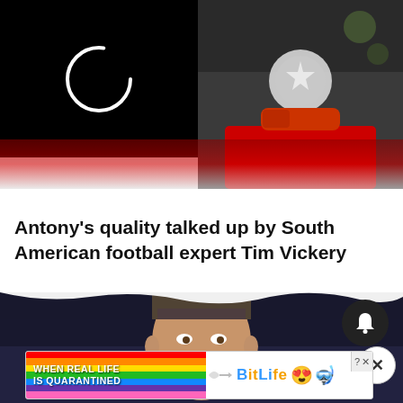[Figure (photo): Top split image: left half shows black background with white loading ring/spinner icon; right half shows a football player holding a Champions League trophy, dark stadium background]
Antony's quality talked up by South American football expert Tim Vickery
[Figure (photo): Bottom portion shows a blonde male player's face against a dark stadium background, with a notification bell icon overlay and a BitLife advertisement banner at the bottom with rainbow stripes and cartoon emojis]